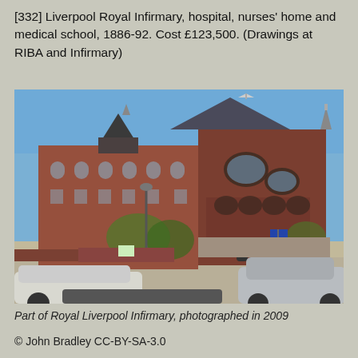[332] Liverpool Royal Infirmary, hospital, nurses' home and medical school, 1886-92. Cost £123,500. (Drawings at RIBA and Infirmary)
[Figure (photo): Exterior photograph of the Royal Liverpool Infirmary building, a large Victorian red-brick building with ornate arched windows, a prominent corner tower with a pointed slate roof and decorative spires, photographed on a sunny day with cars and street in the foreground.]
Part of Royal Liverpool Infirmary, photographed in 2009
© John Bradley CC-BY-SA-3.0